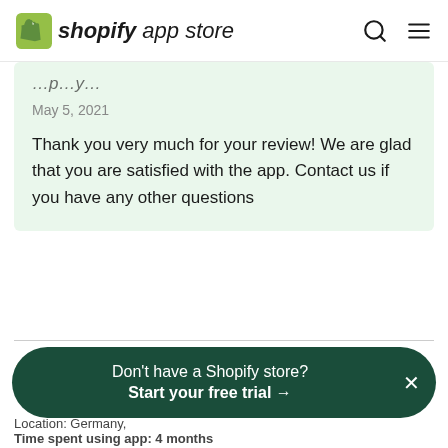shopify app store
May 5, 2021
Thank you very much for your review! We are glad that you are satisfied with the app. Contact us if you have any other questions
[Figure (other): Horizontal divider line]
[Figure (other): 4 yellow stars rating]
April 27, 2021
Don't have a Shopify store? Start your free trial →
Location: Germany,
Time spent using app: 4 months